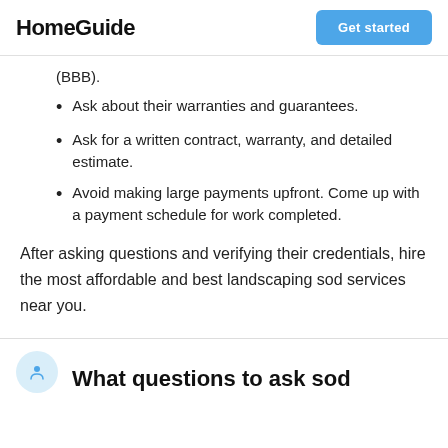HomeGuide  Get started
(BBB).
Ask about their warranties and guarantees.
Ask for a written contract, warranty, and detailed estimate.
Avoid making large payments upfront. Come up with a payment schedule for work completed.
After asking questions and verifying their credentials, hire the most affordable and best landscaping sod services near you.
What questions to ask sod